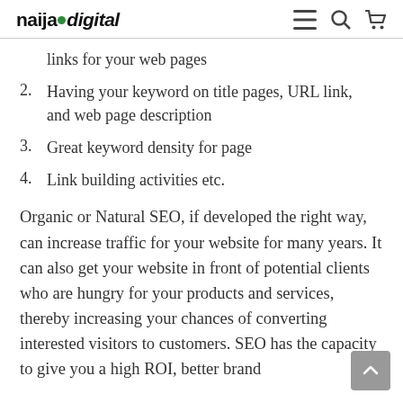naijagodigital
links for your web pages
2. Having your keyword on title pages, URL link, and web page description
3. Great keyword density for page
4. Link building activities etc.
Organic or Natural SEO, if developed the right way, can increase traffic for your website for many years. It can also get your website in front of potential clients who are hungry for your products and services, thereby increasing your chances of converting interested visitors to customers. SEO has the capacity to give you a high ROI, better brand